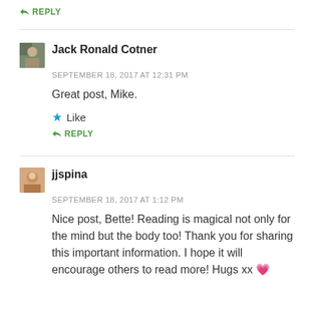↳ REPLY
Jack Ronald Cotner
SEPTEMBER 18, 2017 AT 12:31 PM
Great post, Mike.
Like
↳ REPLY
jjspina
SEPTEMBER 18, 2017 AT 1:12 PM
Nice post, Bette! Reading is magical not only for the mind but the body too! Thank you for sharing this important information. I hope it will encourage others to read more! Hugs xx 💕